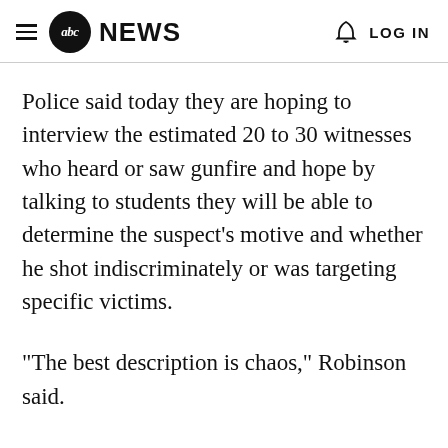abc NEWS   LOG IN
Police said today they are hoping to interview the estimated 20 to 30 witnesses who heard or saw gunfire and hope by talking to students they will be able to determine the suspect's motive and whether he shot indiscriminately or was targeting specific victims.
"The best description is chaos," Robinson said.